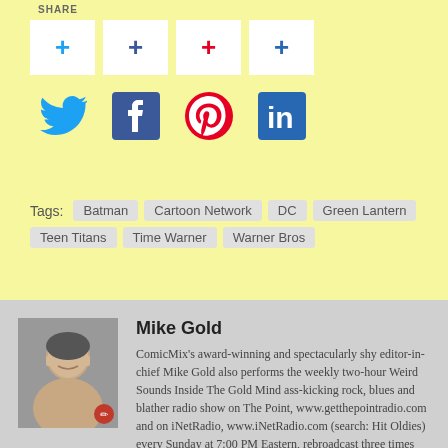SHARE
[Figure (infographic): Four white social share buttons with plus icons in blue, dark blue, red, and light blue colors, representing Twitter, Facebook, Pinterest, and LinkedIn share actions]
[Figure (infographic): Four social media icons: Twitter bird (cyan), Facebook logo (dark blue square), Pinterest P logo (red circle), LinkedIn 'in' logo (blue square)]
Tags: Batman  Cartoon Network  DC  Green Lantern  Teen Titans  Time Warner  Warner Bros
Mike Gold
ComicMix's award-winning and spectacularly shy editor-in-chief Mike Gold also performs the weekly two-hour Weird Sounds Inside The Gold Mind ass-kicking rock, blues and blather radio show on The Point, www.getthepointradio.com and on iNetRadio, www.iNetRadio.com (search: Hit Oldies) every Sunday at 7:00 PM Eastern, rebroadcast three times during the week – check www.getthepointradio.com above for times and on-demand streaming